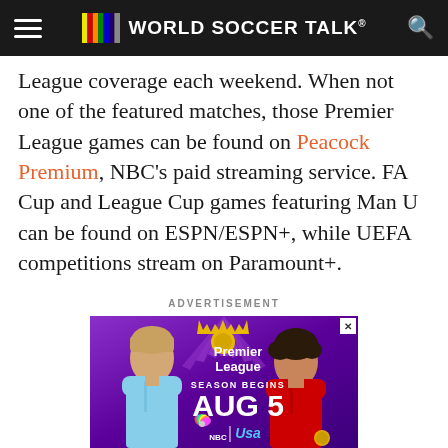World Soccer Talk
League coverage each weekend. When not one of the featured matches, those Premier League games can be found on Peacock Premium, NBC's paid streaming service. FA Cup and League Cup games featuring Man U can be found on ESPN/ESPN+, while UEFA competitions stream on Paramount+.
ADVERTISEMENT
[Figure (photo): Premier League advertisement showing two soccer players (one in light blue kit, one in red kit) with text 'Premier League SEASON BEGINS AUG 5' and NBC/USA Network logos on a purple background.]